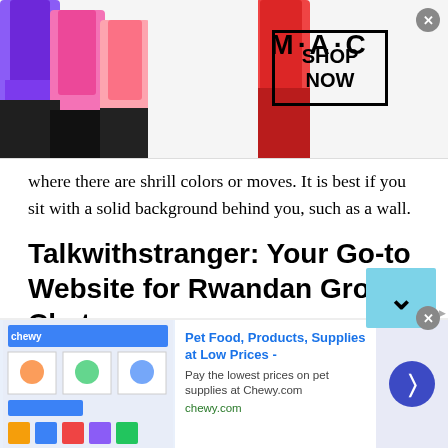[Figure (screenshot): MAC cosmetics advertisement banner with colorful lipsticks on left, MAC logo in center, and SHOP NOW button in a box on the right with a close (x) button]
where there are shrill colors or moves. It is best if you sit with a solid background behind you, such as a wall.
Talkwithstranger: Your Go-to Website for Rwandan Group Chat
Rwandan Group Chat is an excellent way of getting to know people, whether you belong to Rwanda or not. The best platform to use for this purpose is undoubtedly Talkwithstranger! Our website allows you to communicate with people from any part of the world
[Figure (screenshot): Chewy.com advertisement at bottom: Pet Food, Products, Supplies at Low Prices - Pay the lowest prices on pet supplies at Chewy.com, with product images and a blue arrow button]